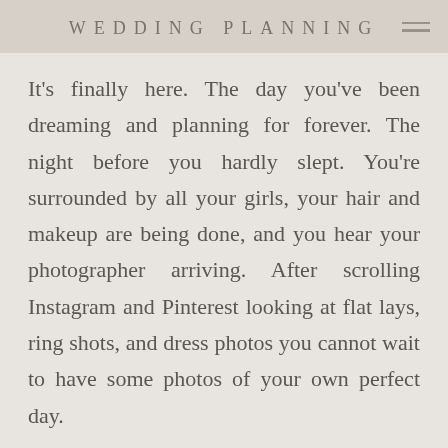WEDDING PLANNING
It's finally here. The day you've been dreaming and planning for forever. The night before you hardly slept. You're surrounded by all your girls, your hair and makeup are being done, and you hear your photographer arriving. After scrolling Instagram and Pinterest looking at flat lays, ring shots, and dress photos you cannot wait to have some photos of your own perfect day.
Whether you are a type-A planner or a fly